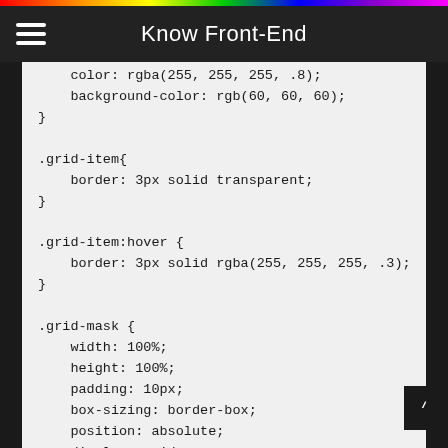Know Front-End
color: rgba(255, 255, 255, .8);
    background-color: rgb(60, 60, 60);
}

.grid-item{
    border: 3px solid transparent;
}

.grid-item:hover {
    border: 3px solid rgba(255, 255, 255, .3);
}

.grid-mask {
    width: 100%;
    height: 100%;
    padding: 10px;
    box-sizing: border-box;
    position: absolute;
    display: grid;
    grid-template-columns: repeat(3,1fr);
    gap: 10px;
    /*  The above code is to keep the two layers